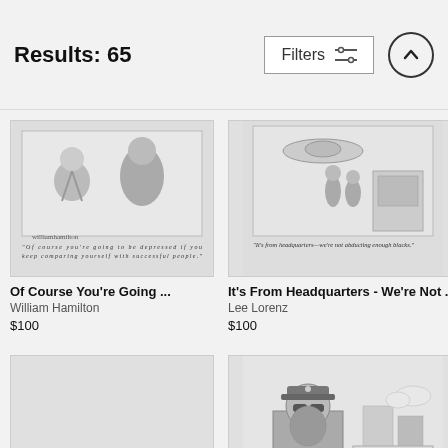Results: 65
[Figure (illustration): New Yorker cartoon by William Hamilton showing a woman with children, caption: 'Of course you're going to be depressed if you keep comparing yourself with successful people.']
Of Course You're Going ...
William Hamilton
$100
[Figure (illustration): New Yorker cartoon by Lee Lorenz showing alien figures, caption: 'It's from headquarters—we're not abducting enough blacks.']
It's From Headquarters - We're Not ...
Lee Lorenz
$100
[Figure (illustration): Empty/blank cartoon placeholder (partially visible, lower left)]
[Figure (illustration): New Yorker cartoon showing a bearded man in a police cap sitting at a desk, with background of cars and buildings. Partially visible.]